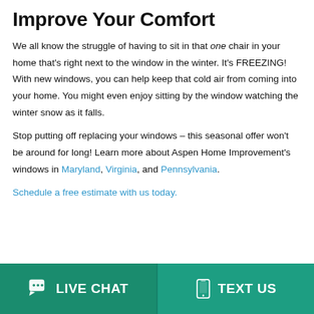Improve Your Comfort
We all know the struggle of having to sit in that one chair in your home that’s right next to the window in the winter. It’s FREEZING! With new windows, you can help keep that cold air from coming into your home. You might even enjoy sitting by the window watching the winter snow as it falls.
Stop putting off replacing your windows – this seasonal offer won’t be around for long! Learn more about Aspen Home Improvement’s windows in Maryland, Virginia, and Pennsylvania.
Schedule a free estimate with us today.
LIVE CHAT  |  TEXT US